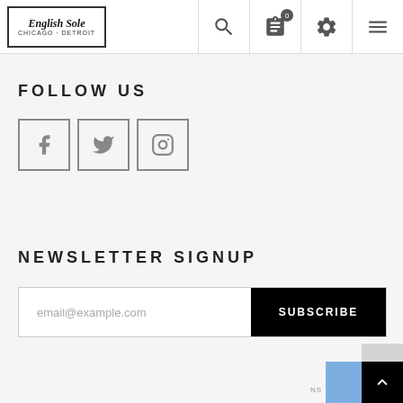[Figure (logo): English Sole logo with blackletter text 'English Sole' and subtitle 'Chicago · Detroit', bordered box]
[Figure (infographic): Header navigation icons: search, clipboard with '0', settings gear, hamburger menu]
FOLLOW US
[Figure (infographic): Three social media icon boxes: Facebook (f), Twitter (bird), Instagram (camera)]
NEWSLETTER SIGNUP
email@example.com
SUBSCRIBE